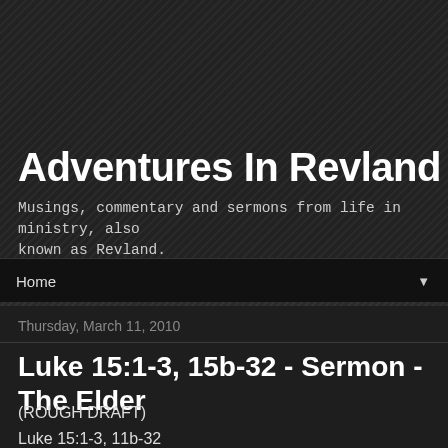Adventures In Revland
Musings, commentary and sermons from life in ministry, also known as Revland.
Home ▼
Thursday, March 11, 2010
Luke 15:1-3, 15b-32 - Sermon - The Elder
(ROUGH DRAFT)
Luke 15:1-3, 11b-32
The Elder
03-14-10